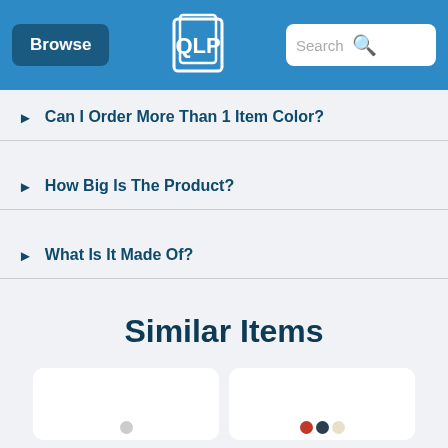Browse | [Logo] | Search
Can I Order More Than 1 Item Color?
How Big Is The Product?
What Is It Made Of?
Similar Items
[Figure (photo): Two product card thumbnails partially visible at bottom of page]